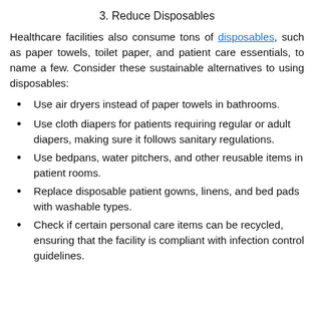3. Reduce Disposables
Healthcare facilities also consume tons of disposables, such as paper towels, toilet paper, and patient care essentials, to name a few. Consider these sustainable alternatives to using disposables:
Use air dryers instead of paper towels in bathrooms.
Use cloth diapers for patients requiring regular or adult diapers, making sure it follows sanitary regulations.
Use bedpans, water pitchers, and other reusable items in patient rooms.
Replace disposable patient gowns, linens, and bed pads with washable types.
Check if certain personal care items can be recycled, ensuring that the facility is compliant with infection control guidelines.